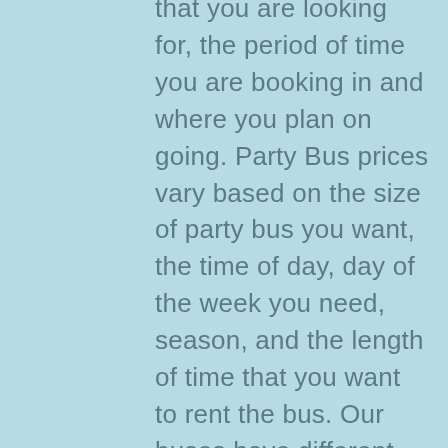that you are looking for, the period of time you are booking in and where you plan on going. Party Bus prices vary based on the size of party bus you want, the time of day, day of the week you need, season, and the length of time that you want to rent the bus. Our buses have different seating capacities and different amenities, depending on your budget, we certainly have a Tampa Party Bus that is right for your event.